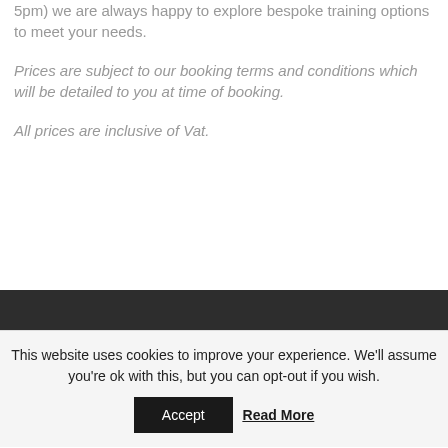5pm) we are always happy to explore bespoke training options to meet your needs.
Prices are subject to our booking terms and conditions which will be detailed to you at time of booking.
All prices are inclusive of Vat.
This website uses cookies to improve your experience. We'll assume you're ok with this, but you can opt-out if you wish.
Accept
Read More